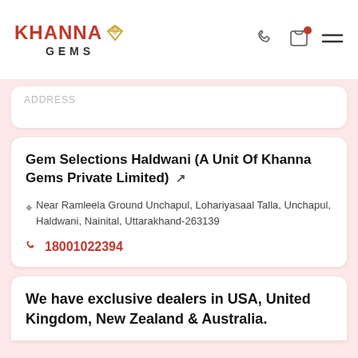Khanna Gems
(partially visible card above)
Gem Selections Haldwani (A Unit Of Khanna Gems Private Limited)
Near Ramleela Ground Unchapul, Lohariyasaal Talla, Unchapul, Haldwani, Nainital, Uttarakhand-263139
18001022394
We have exclusive dealers in USA, United Kingdom, New Zealand & Australia.